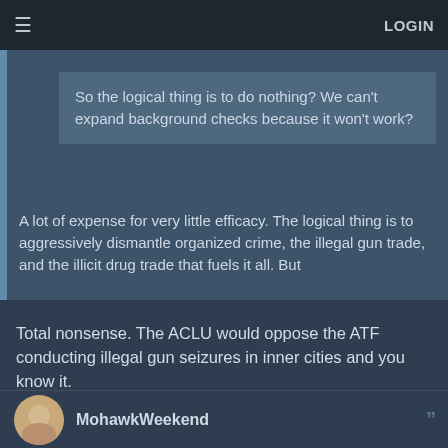LOGIN
So the logical thing is to do nothing? We can't expand background checks because it won't work?
A lot of expense for very little efficacy. The logical thing is to aggressively dismantle organized crime, the illegal gun trade, and the illicit drug trade that fuels it all. But
Total nonsense. The ACLU would oppose the ATF conducting illegal gun seizures in inner cities and you know it.
MohawkWeekend
3 months ago
Hey since what we (the US) is doing ain't working, I suggest we look at how one of the most advanced city/states deals with these issues - Singapore. Guess who doesn't have these problems like we do? Singapore.